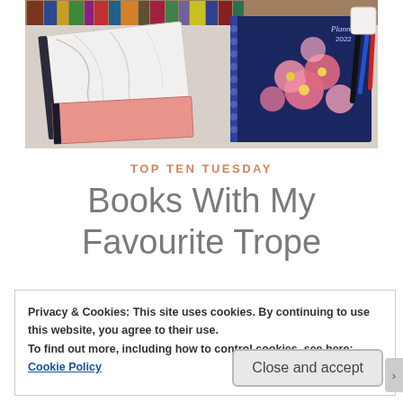[Figure (photo): Photo of notebooks and planners on a desk — a marble-covered notebook, a pink notebook, a navy floral planner, and colorful books on a shelf in the background]
TOP TEN TUESDAY
Books With My Favourite Trope
Privacy & Cookies: This site uses cookies. By continuing to use this website, you agree to their use.
To find out more, including how to control cookies, see here: Cookie Policy
Close and accept